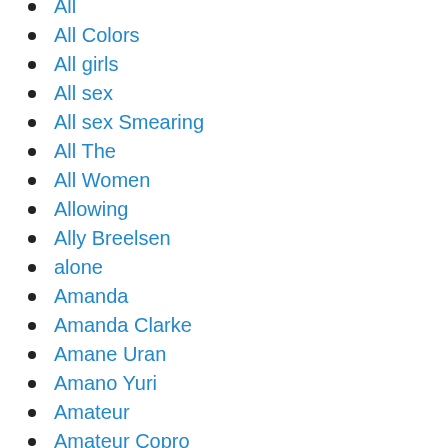All
All Colors
All girls
All sex
All sex Smearing
All The
All Women
Allowing
Ally Breelsen
alone
Amanda
Amanda Clarke
Amane Uran
Amano Yuri
Amateur
Amateur Copro